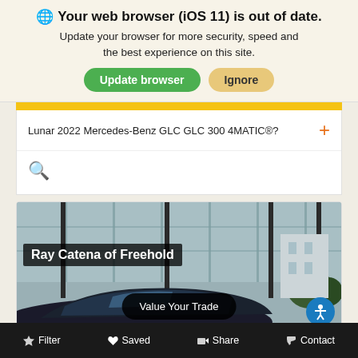🌐 Your web browser (iOS 11) is out of date. Update your browser for more security, speed and the best experience on this site.
Update browser | Ignore
Lunar 2022 Mercedes-Benz GLC GLC 300 4MATIC®?
[Figure (screenshot): Search icon (magnifying glass)]
[Figure (photo): Ray Catena of Freehold dealership exterior photo with a dark car in foreground and a 'Value Your Trade' button overlay]
Filter | Saved | Share | Contact